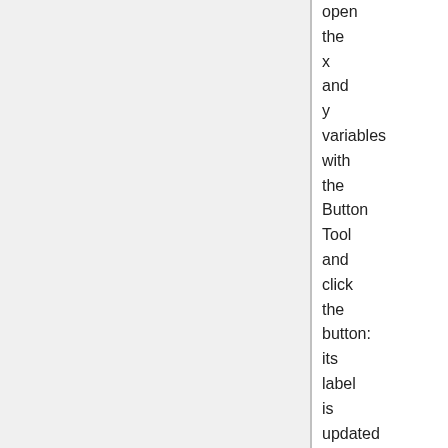open the x and y variables with the Button Tool and click the button: its label is updated by the tool.